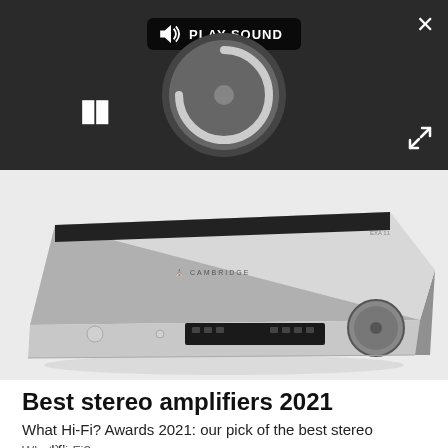[Figure (screenshot): Media player UI with dark background showing a PLAY SOUND button with speaker icon, a loading/disc spinner graphic in grey, a pause (II) button, a close X button top right, and an expand icon bottom right.]
[Figure (photo): Cambridge Audio stereo integrated amplifier in silver/grey finish, shown in perspective view with front panel controls, display, and large volume knob on the right.]
Best stereo amplifiers 2021
What Hi-Fi? Awards 2021: our pick of the best stereo amplifiers
What Hi-Fi?